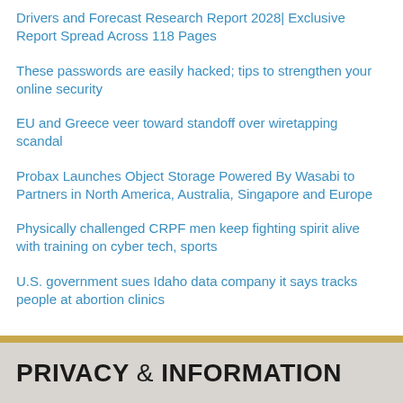Drivers and Forecast Research Report 2028| Exclusive Report Spread Across 118 Pages
These passwords are easily hacked; tips to strengthen your online security
EU and Greece veer toward standoff over wiretapping scandal
Probax Launches Object Storage Powered By Wasabi to Partners in North America, Australia, Singapore and Europe
Physically challenged CRPF men keep fighting spirit alive with training on cyber tech, sports
U.S. government sues Idaho data company it says tracks people at abortion clinics
PRIVACY & INFORMATION